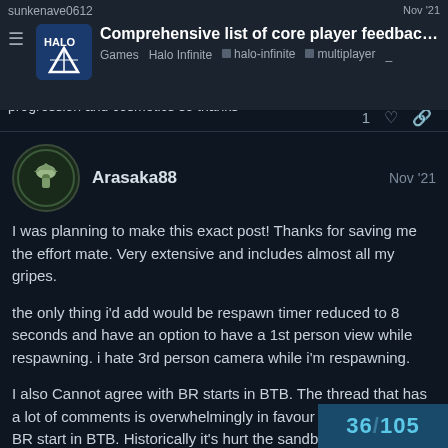Comprehensive list of core player feedbac… | Games Halo Infinite · halo-infinite · multiplayer
you just said all the things i was about to say concerning progression and cosmetics so thanks
Arasaka88   Nov '21
I was planning to make this exact post! Thanks for saving me the effort mate. Very extensive and includes almost all my gripes.
the only thing i'd add would be respawn timer reduced to 8 seconds and have an option to have a 1st person view while respawning. i hate 3rd person camera while i'm respawning.
I also Cannot agree with BR starts in BTB. The thread that has a lot of comments is overwhelmingly in favour of not having a BR start in BTB. Historically it's hurt the sandbox in mod weapon as 95% of people don't bother findin